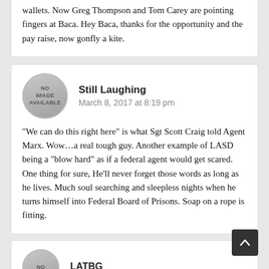wallets. Now Greg Thompson and Tom Carey are pointing fingers at Baca. Hey Baca, thanks for the opportunity and the pay raise, now gonfly a kite.
[Figure (other): User avatar placeholder circle with text NO IMAGE AVAILABLE]
Still Laughing
March 8, 2017 at 8:19 pm
“We can do this right here” is what Sgt Scott Craig told Agent Marx. Wow…a real tough guy. Another example of LASD being a “blow hard” as if a federal agent would get scared. One thing for sure, He’ll never forget those words as long as he lives. Much soul searching and sleepless nights when he turns himself into Federal Board of Prisons. Soap on a rope is fitting.
[Figure (other): User avatar placeholder circle with text NO IMAGE (partially visible at bottom)]
LATBG